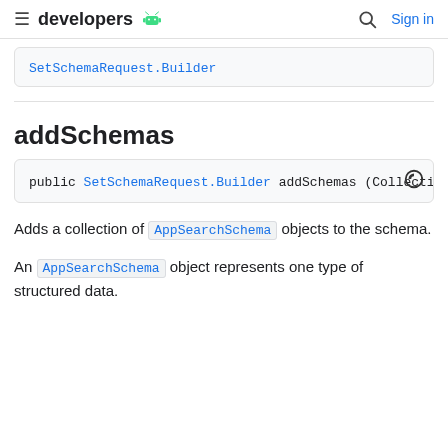developers [android icon] | [search] Sign in
SetSchemaRequest.Builder
addSchemas
public SetSchemaRequest.Builder addSchemas (Collecti
Adds a collection of AppSearchSchema objects to the schema.
An AppSearchSchema object represents one type of structured data.